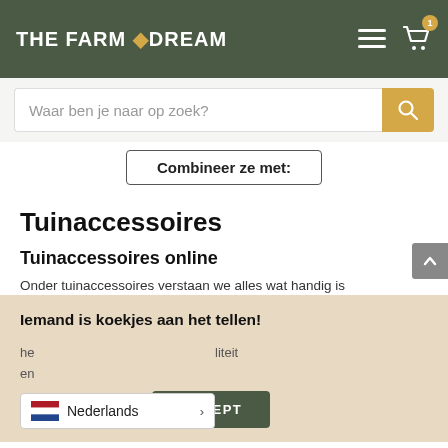THE FARM DREAM
Waar ben je naar op zoek?
Combineer ze met:
Tuinaccessoires
Tuinaccessoires online
Onder tuinaccessoires verstaan we alles wat handig is vo... die we... he... liteit en... tuinac... schap waar we blij van worde...
Iemand is koekjes aan het tellen!
Cookie-instellingen
ACCEPT
Nederlands